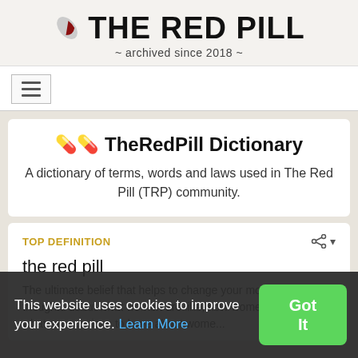THE RED PILL ~ archived since 2018 ~
💊💊 TheRedPill Dictionary
A dictionary of terms, words and laws used in The Red Pill (TRP) community.
TOP DEFINITION
the red pill
The ultimate belief that helps to change your most true thoughts about what women are like, how women operate, and what expectations to have about women that are reasonable, and what standards men could try
This website uses cookies to improve your experience. Learn More